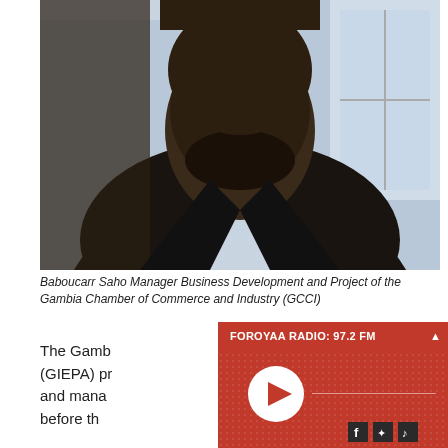[Figure (photo): Portrait photo of Baboucarr Saho, a man in a dark suit jacket and light blue shirt, taken from a close-up angle indoors.]
Baboucarr Saho Manager Business Development and Project of the Gambia Chamber of Commerce and Industry (GCCI)
The Gambia Investment and Export Promotion Agency (GIEPA) pr... and mana... before th...
[Figure (screenshot): Foroyaa Radio 97.2 FM embedded audio player widget with red background, play button, progress bar, and social/audio icons.]